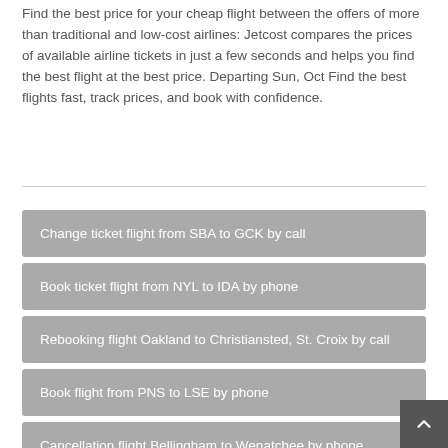Find the best price for your cheap flight between the offers of more than traditional and low-cost airlines: Jetcost compares the prices of available airline tickets in just a few seconds and helps you find the best flight at the best price. Departing Sun, Oct Find the best flights fast, track prices, and book with confidence.
Change ticket flight from SBA to GCK by call
Book ticket flight from NYL to IDA by phone
Rebooking flight Oakland to Christiansted, St. Croix by call
Book flight from PNS to LSE by phone
Cancellation flight Bellingham to Wenatchee by phone